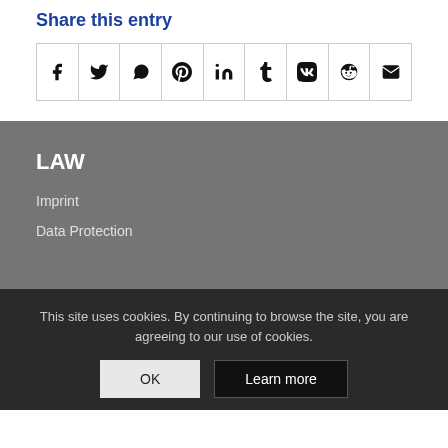Share this entry
[Figure (other): Social share buttons row: Facebook, Twitter, WhatsApp, Pinterest, LinkedIn, Tumblr, VK, Reddit, Email]
LAW
Imprint
Data Protection
This site uses cookies. By continuing to browse the site, you are agreeing to our use of cookies.